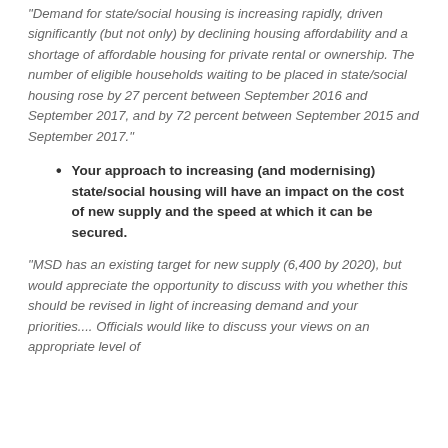"Demand for state/social housing is increasing rapidly, driven significantly (but not only) by declining housing affordability and a shortage of affordable housing for private rental or ownership. The number of eligible households waiting to be placed in state/social housing rose by 27 percent between September 2016 and September 2017, and by 72 percent between September 2015 and September 2017."
Your approach to increasing (and modernising) state/social housing will have an impact on the cost of new supply and the speed at which it can be secured.
"MSD has an existing target for new supply (6,400 by 2020), but would appreciate the opportunity to discuss with you whether this should be revised in light of increasing demand and your priorities.... Officials would like to discuss your views on an appropriate level of